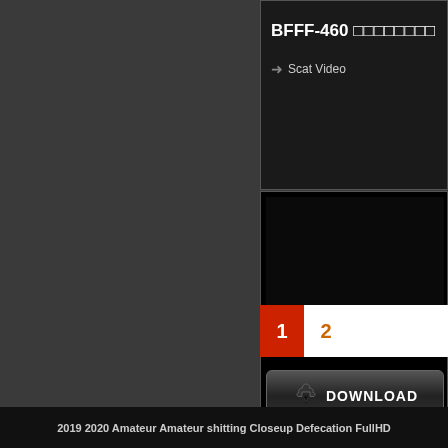BFFF-460 □□□□□□□□□
→ Scat Video
BFFF-460 □□□□□□□□□ Voyeur
[Figure (screenshot): Download button with arrow icon and text DOWNLOAD]
1  2
2019 2020 Amateur Amateur shitting Closeup Defecation FullHD